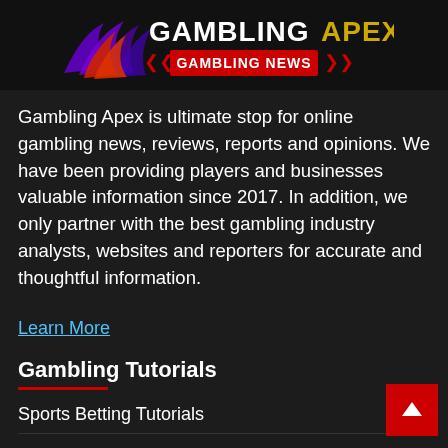[Figure (logo): Gambling Apex logo with purple wing graphic and red 'GAMBLING NEWS' banner. Text reads 'GAMBLING APEX' with 'GAMBLING NEWS' in a red label with chevron arrows on sides.]
Gambling Apex is ultimate stop for online gambling news, reviews, reports and opinions. We have been providing players and businesses valuable information since 2017. In addition, we only partner with the best gambling industry analysts, websites and reporters for accurate and thoughtful information.
Learn More
Gambling Tutorials
Sports Betting Tutorials
Casino Games Tutorials